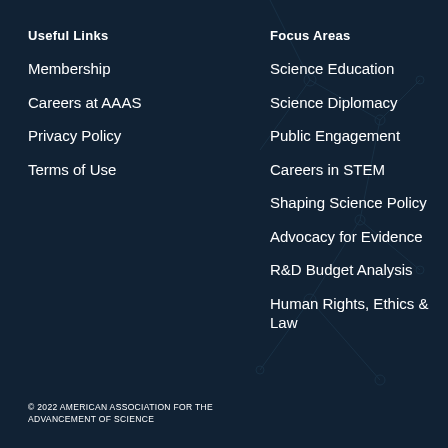Useful Links
Membership
Careers at AAAS
Privacy Policy
Terms of Use
Focus Areas
Science Education
Science Diplomacy
Public Engagement
Careers in STEM
Shaping Science Policy
Advocacy for Evidence
R&D Budget Analysis
Human Rights, Ethics & Law
© 2022 AMERICAN ASSOCIATION FOR THE ADVANCEMENT OF SCIENCE